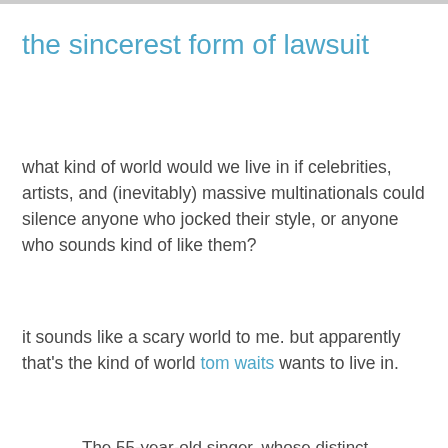the sincerest form of lawsuit
what kind of world would we live in if celebrities, artists, and (inevitably) massive multinationals could silence anyone who jocked their style, or anyone who sounds kind of like them?
it sounds like a scary world to me. but apparently that's the kind of world tom waits wants to live in.
The 55-year-old singer, whose distinct, gravelly voice has won him two Grammy Awards, filed the civil lawsuit this week with a state court in Frankfurt, listing Adam Opel AG and the advertising firm McCann Erickson as the defendants.
Andreas Schumacher, Waits' German lawyer, said the singer was approached numerous times about doing the ads last year, but declined, citing a policy of not doing commercials, considered by the rights...